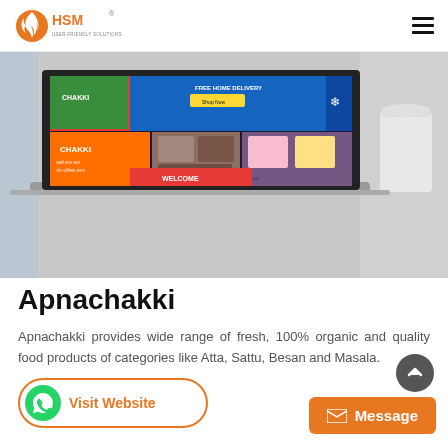HSM User Friendly Solutions
[Figure (screenshot): Screenshot of Apnachakki website on a laptop, showing the e-commerce site with food product images including Chakki brand items, 'Free Home Delivery' banner, and Indian food products like Atta, Sattu, Besan and Masala. A white cup is visible on the right side.]
Apnachakki
Apnachakki provides wide range of fresh, 100% organic and quality food products of categories like Atta, Sattu, Besan and Masala.
Visit Website
Message